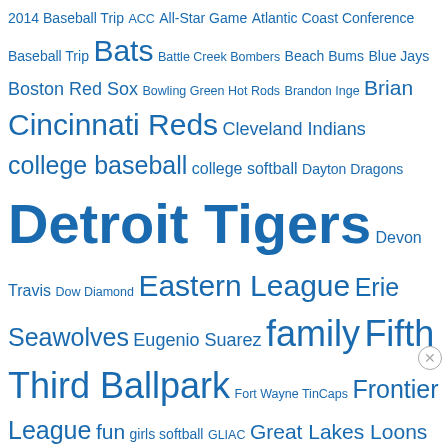2014 Baseball Trip ACC All-Star Game Atlantic Coast Conference Baseball Trip Bats Battle Creek Bombers Beach Bums Blue Jays Boston Red Sox Bowling Green Hot Rods Brandon Inge Brian Cincinnati Reds Cleveland Indians college baseball college softball Dayton Dragons Detroit Tigers Devon Travis Dow Diamond Eastern League Erie Seawolves Eugenio Suarez family Fifth Third Ballpark Fort Wayne TinCaps Frontier League fun girls softball GLIAC Great Lakes Loons Independant Pro Baseball Indians International League IPBF Lake County Captains Lakeland Flying Tigers Lakers LAKER SOFTBALL Lake Superior State Lansing LugNuts Little League Little League Baseball Logo of the Month Loons Los Angeles Dodgers Louisville Louisville Bats Louisville Cardinals Louisville Slugger Field LSSU Lakers LSSU Softball LugNuts Major League Baseball Midwest League MiLB Minor League Baseball MLB NCAA Nick Castellanos Reds Red Sox Sault Area Little League Scott Sizemore softball South Atlantic
Advertisements
[Figure (other): DuckDuckGo advertisement banner: Search, browse, and email with more privacy. All in One Free App]